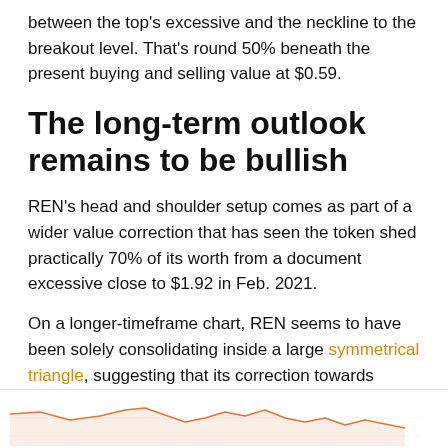between the top's excessive and the neckline to the breakout level. That's round 50% beneath the present buying and selling value at $0.59.
The long-term outlook remains to be bullish
REN's head and shoulder setup comes as part of a wider value correction that has seen the token shed practically 70% of its worth from a document excessive close to $1.92 in Feb. 2021.
On a longer-timeframe chart, REN seems to have been solely consolidating inside a large symmetrical triangle, suggesting that its correction towards $0.30 might find yourself inflicting a rebound towards $1.20.
[Figure (continuous-plot): Partial bottom strip of a financial chart showing a price line for REN token, with small orange/pink line chart, y-axis price labels on right side, and chart source label top-left.]